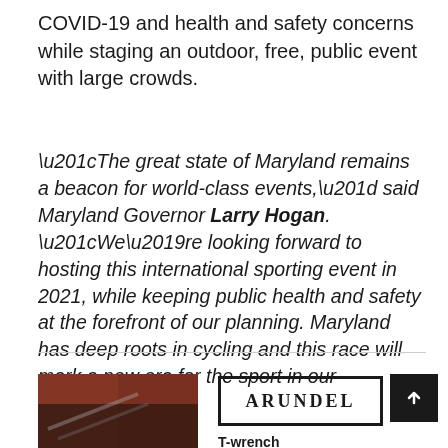COVID-19 and health and safety concerns while staging an outdoor, free, public event with large crowds.
“The great state of Maryland remains a beacon for world-class events,” said Maryland Governor Larry Hogan. “We’re looking forward to hosting this international sporting event in 2021, while keeping public health and safety at the forefront of our planning. Maryland has deep roots in cycling and this race will mark a new era for the sport in our state.”
[Figure (photo): Partial photo of a person, showing hands, with dark reddish-brown tones]
[Figure (logo): Arundel logo in a rectangular border with text ARUNDEL]
T-wrench